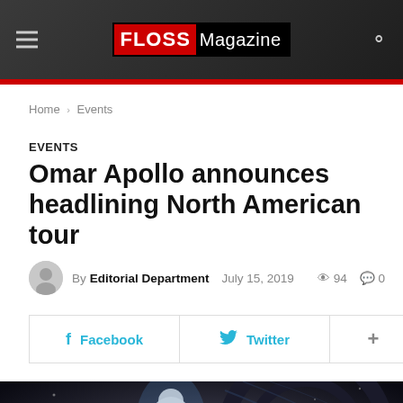FLOSS Magazine
EVENTS
Omar Apollo announces headlining North American tour
By Editorial Department   July 15, 2019   94   0
Facebook   Twitter   +
[Figure (photo): Omar Apollo performing on stage, dark background with light effects, wearing a white outfit]